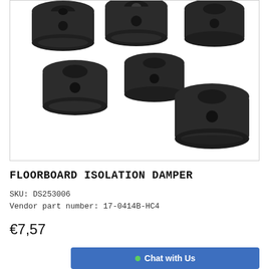[Figure (photo): Multiple black rubber floorboard isolation damper bushings arranged on a white background, showing cylindrical rubber parts with center holes]
FLOORBOARD ISOLATION DAMPER
SKU: DS253006
Vendor part number: 17-0414B-HC4
€7,57
Chat with Us